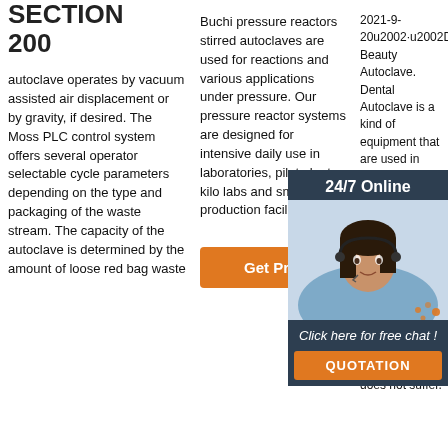SECTION 200
autoclave operates by vacuum assisted air displacement or by gravity, if desired. The Moss PLC control system offers several operator selectable cycle parameters depending on the type and packaging of the waste stream. The capacity of the autoclave is determined by the amount of loose red bag waste
Buchi pressure reactors stirred autoclaves are used for reactions and various applications under pressure. Our pressure reactor systems are designed for intensive daily use in laboratories, pilot plants kilo labs and small-scale production facilities.
Get Price
2021-9-20u2002·u2002Dental Beauty Autoclave. Dental Autoclave is a kind of equipment that are used in practice to sterilize instruments all of them used in professional procedures. Dental is essential for the safety of patients and to ensure that productivity does not suffer.
[Figure (photo): Customer service representative with headset, dark background, part of a 24/7 Online chat widget overlay]
24/7 Online
Click here for free chat !
QUOTATION